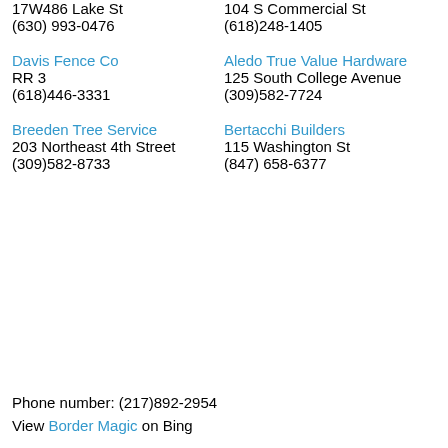17W486 Lake St
(630) 993-0476
104 S Commercial St
(618)248-1405
Davis Fence Co
RR 3
(618)446-3331
Aledo True Value Hardware
125 South College Avenue
(309)582-7724
Breeden Tree Service
203 Northeast 4th Street
(309)582-8733
Bertacchi Builders
115 Washington St
(847) 658-6377
Phone number: (217)892-2954
View Border Magic on Bing